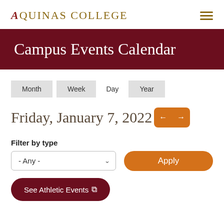AQUINAS COLLEGE
Campus Events Calendar
Month  Week  Day  Year
Friday, January 7, 2022
Filter by type
- Any -
Apply
See Athletic Events